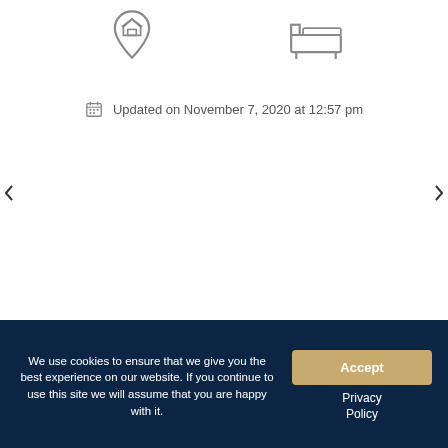[Figure (illustration): Two outline icons side by side: a house with a location pin on the left, and a bed/bedroom icon on the right]
Updated on November 7, 2020 at 12:57 pm
We use cookies to ensure that we give you the best experience on our website. If you continue to use this site we will assume that you are happy with it.
Accept
Privacy Policy